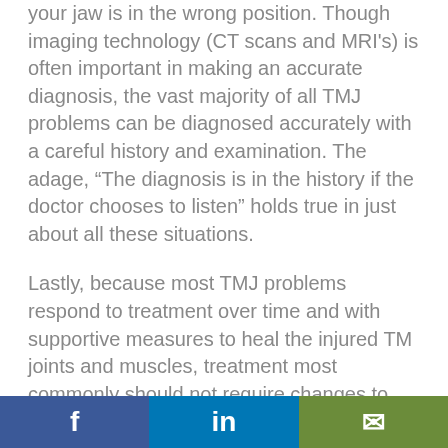your jaw is in the wrong position. Though imaging technology (CT scans and MRI's) is often important in making an accurate diagnosis, the vast majority of all TMJ problems can be diagnosed accurately with a careful history and examination. The adage, “The diagnosis is in the history if the doctor chooses to listen” holds true in just about all these situations.
Lastly, because most TMJ problems respond to treatment over time and with supportive measures to heal the injured TM joints and muscles, treatment most commonly should not require changes to your teeth or bite. If your “TMJ Doctor” recommends ongoing bite adjustments (grinding
f  in  ✉